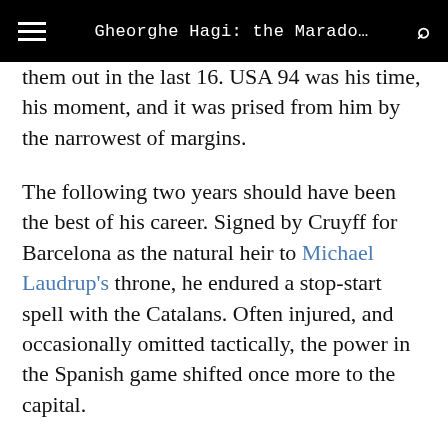Gheorghe Hagi: the Marado…
them out in the last 16. USA 94 was his time, his moment, and it was prised from him by the narrowest of margins.
The following two years should have been the best of his career. Signed by Cruyff for Barcelona as the natural heir to Michael Laudrup's throne, he endured a stop-start spell with the Catalans. Often injured, and occasionally omitted tactically, the power in the Spanish game shifted once more to the capital.
A poor Euro 96 was followed by his departure from the Camp Nou to an unexpected new destination, as he headed to Istanbul and Galatasaray, where he once…